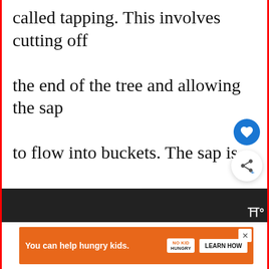called tapping. This involves cutting off the end of the tree and allowing the sap to flow into buckets. The sap is collected and stored in containers until it is ready to be processed. Once the resin is harvested, it is heated to
[Figure (screenshot): UI overlay elements: a blue heart/like button and a share button (circular with share icon)]
[Figure (screenshot): What's Next widget showing a food image and text 'What happens if you eat...']
[Figure (screenshot): Advertisement banner: orange background with 'You can help hungry kids.' text, NoKid Hungry logo, and Learn How button. Close (X) button in top right.]